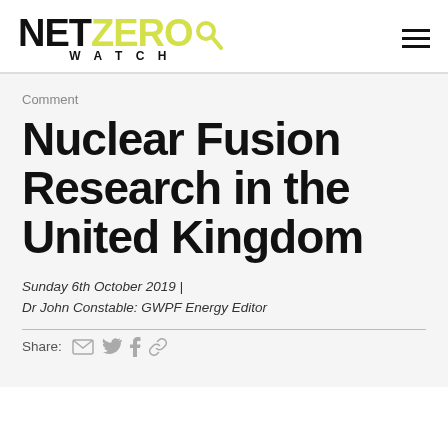NET ZERO WATCH
Comment
Nuclear Fusion Research in the United Kingdom
Sunday 6th October 2019 | Dr John Constable: GWPF Energy Editor
Share: